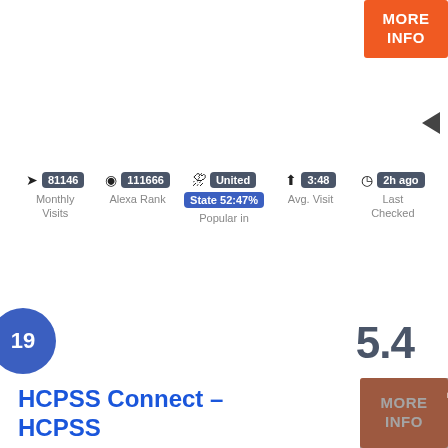[Figure (infographic): Orange MORE INFO button in top right corner]
81146 Monthly Visits
111666 Alexa Rank
United State 52:47% Popular in
3:48 Avg. Visit
2h ago Last Checked
19
5.4
HCPSS Connect – HCPSS
[Figure (infographic): Orange MORE INFO button in bottom right corner with overlay]